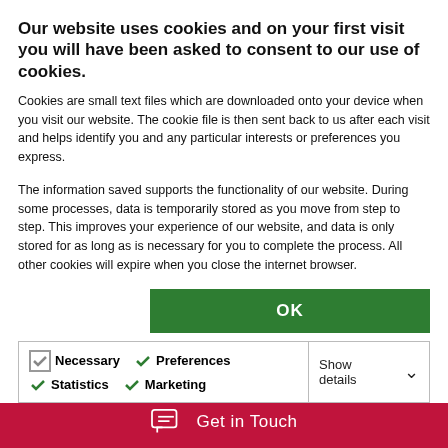Our website uses cookies and on your first visit you will have been asked to consent to our use of cookies.
Cookies are small text files which are downloaded onto your device when you visit our website. The cookie file is then sent back to us after each visit and helps identify you and any particular interests or preferences you express.
The information saved supports the functionality of our website. During some processes, data is temporarily stored as you move from step to step. This improves your experience of our website, and data is only stored for as long as is necessary for you to complete the process. All other cookies will expire when you close the internet browser.
| Necessary | Preferences | Statistics | Show details |
| --- | --- | --- | --- |
| ✓ Necessary | ✓ Preferences | ✓ Statistics | Show details ▾ |
| ✓ Marketing |  |  |  |
that was done; however, the specialist cerebral palsy solicitors at JMW were successful in obtaining an admission of negligence from the hospital trust and £25 million in compensation so that he can have the best possible quality of life.
Get in Touch